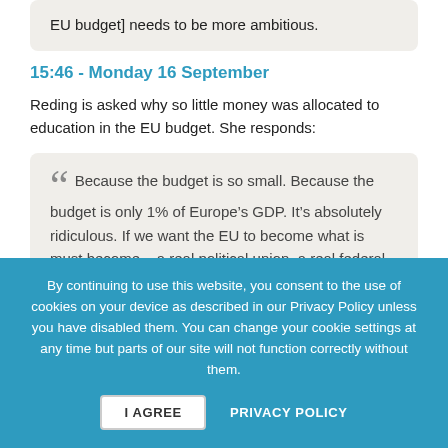EU budget] needs to be more ambitious.
15:46 - Monday 16 September
Reding is asked why so little money was allocated to education in the EU budget. She responds:
“Because the budget is so small. Because the budget is only 1% of Europe’s GDP. It’s absolutely ridiculous. If we want the EU to become what is must become – a real political union, a real federal union –
By continuing to use this website, you consent to the use of cookies on your device as described in our Privacy Policy unless you have disabled them. You can change your cookie settings at any time but parts of our site will not function correctly without them.
I AGREE
PRIVACY POLICY